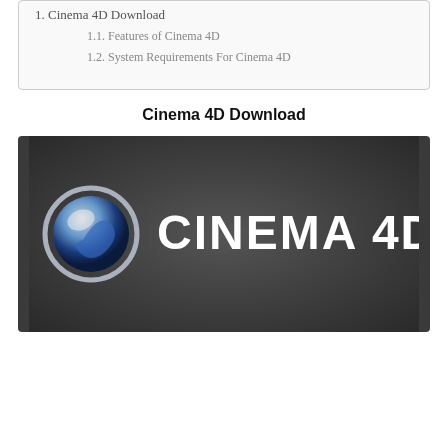1. Cinema 4D Download
1.1. Features of Cinema 4D
1.2. System Requirements For Cinema 4D
Cinema 4D Download
[Figure (logo): Cinema 4D logo on dark gray background with the Cinema 4D sphere icon on the left and white text reading CINEMA 4D on the right]